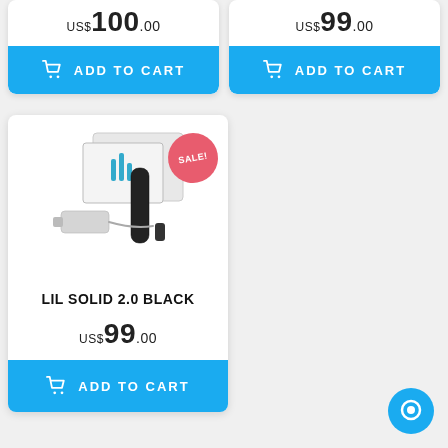US$100.00
ADD TO CART
US$99.00
ADD TO CART
[Figure (photo): LIL SOLID 2.0 BLACK product with SALE badge - device kit with charger and accessories in white packaging]
LIL SOLID 2.0 BLACK
US$99.00
ADD TO CART